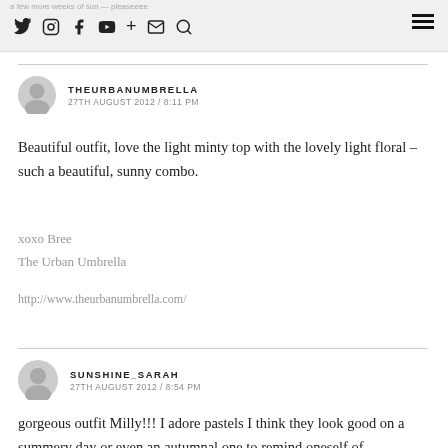a few more weeks of sun — pleaseeee
THEURBANUMBRELLA
27TH AUGUST 2012 / 8:11 PM
Beautiful outfit, love the light minty top with the lovely light floral – such a beautiful, sunny combo.
xoxo Bree
The Urban Umbrella
http://www.theurbanumbrella.com/
SUNSHINE_SARAH
27TH AUGUST 2012 / 8:54 PM
gorgeous outfit Milly!!! I adore pastels I think they look good on a summery day or even an autumnal one to remind oneself of